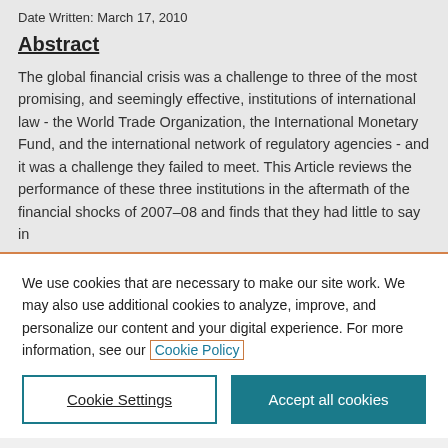Date Written: March 17, 2010
Abstract
The global financial crisis was a challenge to three of the most promising, and seemingly effective, institutions of international law - the World Trade Organization, the International Monetary Fund, and the international network of regulatory agencies - and it was a challenge they failed to meet. This Article reviews the performance of these three institutions in the aftermath of the financial shocks of 2007–08 and finds that they had little to say in
We use cookies that are necessary to make our site work. We may also use additional cookies to analyze, improve, and personalize our content and your digital experience. For more information, see our Cookie Policy
Cookie Settings
Accept all cookies